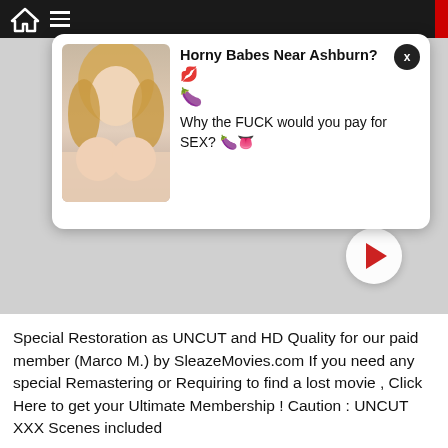[Figure (screenshot): Top navigation bar with home icon and hamburger menu on dark background]
[Figure (infographic): Ad popup card with thumbnail photo of a blonde woman and text: Horny Babes Near Ashburn? 💋 🍆 Why the FUCK would you pay for SEX? 🍆👅 with an X close button]
[Figure (other): White circular play button with red triangle in center, overlaid on gray video background area]
Special Restoration as UNCUT and HD Quality for our paid member (Marco M.) by SleazeMovies.com If you need any special Remastering or Requiring to find a lost movie , Click Here to get your Ultimate Membership ! Caution : UNCUT XXX Scenes included